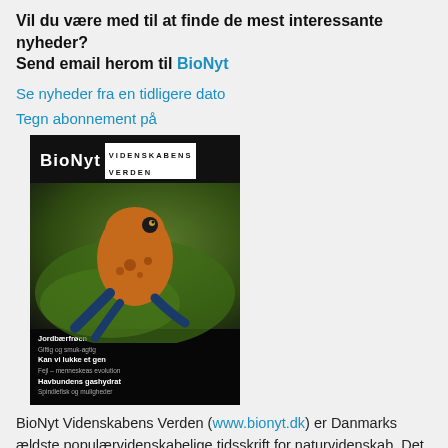Vil du være med til at finde de mest interessante nyheder? Send email herom til BioNyt
Se nyheder fra en tidligere dato
Tegn abonnement på
[Figure (photo): Cover of BioNyt Videnskabens Verden magazine showing a strawberry poison dart frog on a green surface, with Danish text about jordbærfrøen, genes, and gas hydrates]
BioNyt Videnskabens Verden (www.bionyt.dk) er Danmarks ældste populærvidenskabelige tidsskrift for naturvidenskab. Det er det eneste blad af sin art i Danmark, som er helliget international forskning inden for livsvidenskaberne.
Bladet bringer aktuelle, spændende forskningsnyheder